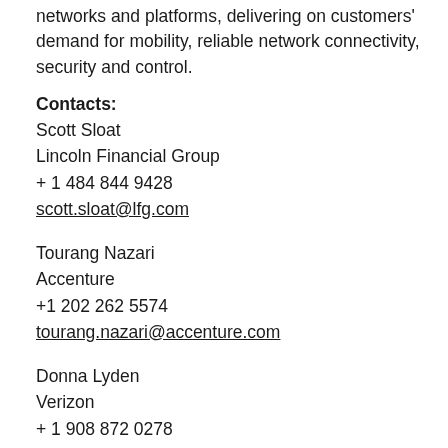networks and platforms, delivering on customers' demand for mobility, reliable network connectivity, security and control.
Contacts:
Scott Sloat
Lincoln Financial Group
+ 1 484 844 9428
scott.sloat@lfg.com
Tourang Nazari
Accenture
+1 202 262 5574
tourang.nazari@accenture.com
Donna Lyden
Verizon
+ 1 908 872 0278
donna.lyden@verizon.com